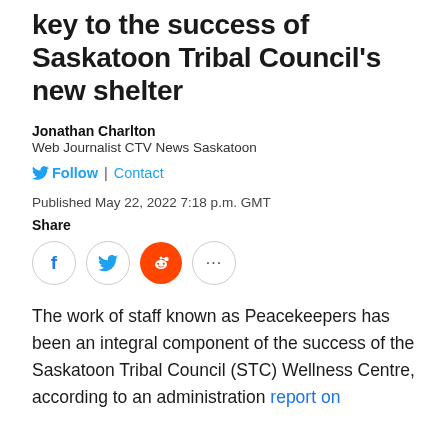key to the success of Saskatoon Tribal Council's new shelter
Jonathan Charlton
Web Journalist CTV News Saskatoon
Follow | Contact
Published May 22, 2022 7:18 p.m. GMT
Share
[Figure (infographic): Social share buttons: Facebook, Twitter, Reddit, More (ellipsis)]
The work of staff known as Peacekeepers has been an integral component of the success of the Saskatoon Tribal Council (STC) Wellness Centre, according to an administration report on